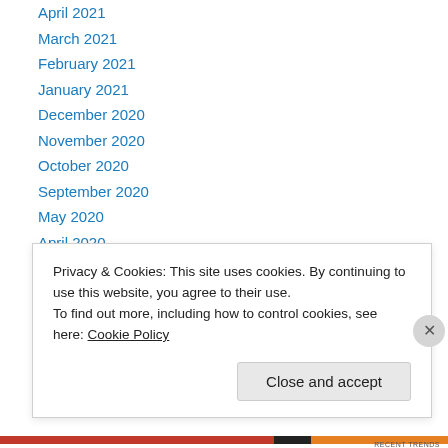April 2021
March 2021
February 2021
January 2021
December 2020
November 2020
October 2020
September 2020
May 2020
April 2020
March 2020
January 2020
October 2019
April 2019
Privacy & Cookies: This site uses cookies. By continuing to use this website, you agree to their use. To find out more, including how to control cookies, see here: Cookie Policy
Close and accept